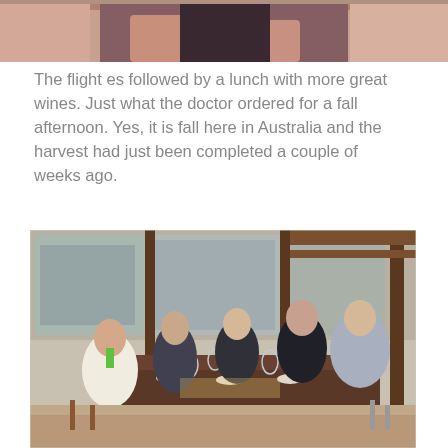[Figure (photo): Cropped bottom portion of a photo showing legs/lower body in dark clothing, outdoor setting]
The flight es followed by a lunch with more great wines. Just what the doctor ordered for a fall afternoon. Yes, it is fall here in Australia and the harvest had just been completed a couple of weeks ago.
[Figure (photo): Group of five people seated around a dining table on an outdoor restaurant terrace with wood columns and glass windows. A man in a white jacket with green tie sits at left, smiling. Three women seat in the middle, and a man in a grey suit sits at right. The table has wine glasses, plates, and food.]